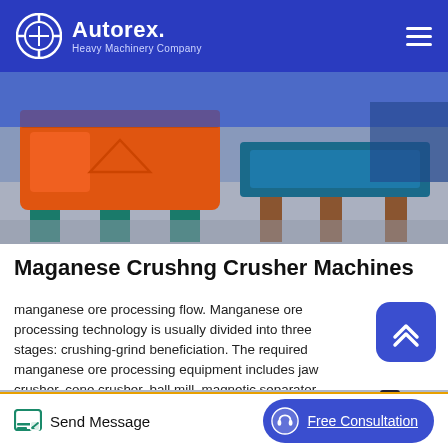Autorex Heavy Machinery Company
[Figure (photo): Industrial heavy machinery — orange and teal crushing/processing equipment on factory floor]
Maganese Crushng Crusher Machines
manganese ore processing flow. Manganese ore processing technology is usually divided into three stages: crushing-grind beneficiation. The required manganese ore processing equipment includes jaw crusher, cone crusher, ball mill, magnetic separator, dryer and other equipment. The following is a detailed process flow introduction.The manganese ore processing equipment including…
[Figure (photo): Bottom strip image showing industrial equipment/conveyor in a factory setting]
Send Message   Free Consultation